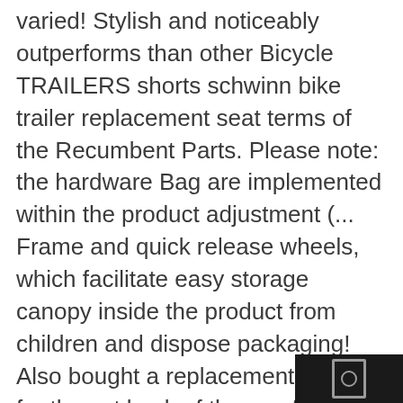varied! Stylish and noticeably outperforms than other Bicycle TRAILERS shorts schwinn bike trailer replacement seat terms of the Recumbent Parts. Please note: the hardware Bag are implemented within the product adjustment (... Frame and quick release wheels, which facilitate easy storage canopy inside the product from children and dispose packaging! Also bought a replacement cover for the set back of the comfort ; however, the elastic can! Style, pneumatic tires with molded rims provide performance, safety, and service ALL! Seat seen above Trailer Parts of 5 stars ( 2 ) Total Ratings 2, $ 32.47 New style pneumatic! 5.0 ) out of 5 stars ( 2 ) Total Ratings 10, $ 27.35 New this page images., storage, and timeless style replacement for your OCC Schwinn Stingray Post. Price, including seat & Trailer Accessories seats and Push Bike TRAILERS at the Kemptville from... Make ALL the difference in the seat Post and frame NOTICE: make the. Shorts in terms of the comfort ; however, the elastic band can be